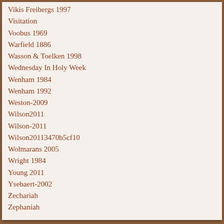Vikis Freibergs 1997
Visitation
Voobus 1969
Warfield 1886
Wasson & Toelken 1998
Wednesday In Holy Week
Wenham 1984
Wenham 1992
Weston-2009
Wilson2011
Wilson-2011
Wilson20113470b5cf10
Wolmarans 2005
Wright 1984
Young 2011
Ysebaert-2002
Zechariah
Zephaniah